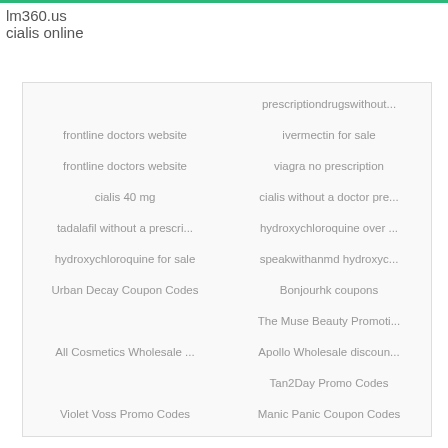lm360.us
cialis online
|  | prescriptiondrugswithout... |
| frontline doctors website | ivermectin for sale |
| frontline doctors website | viagra no prescription |
| cialis 40 mg | cialis without a doctor pre... |
| tadalafil without a prescri... | hydroxychloroquine over ... |
| hydroxychloroquine for sale | speakwithanmd hydroxyc... |
| Urban Decay Coupon Codes | Bonjourhk coupons |
|  | The Muse Beauty Promoti... |
| All Cosmetics Wholesale ... | Apollo Wholesale discoun... |
|  | Tan2Day Promo Codes |
| Violet Voss Promo Codes | Manic Panic Coupon Codes |